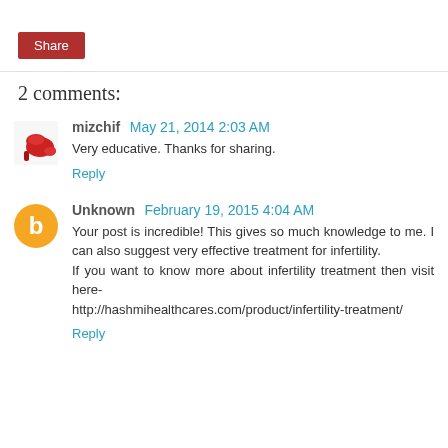[Figure (other): Red Share button]
2 comments:
[Figure (photo): Red high heel shoe avatar for user mizchif]
mizchif May 21, 2014 2:03 AM
Very educative. Thanks for sharing.
Reply
[Figure (other): Orange circle avatar with letter B for user Unknown]
Unknown February 19, 2015 4:04 AM
Your post is incredible! This gives so much knowledge to me. I can also suggest very effective treatment for infertility.
If you want to know more about infertility treatment then visit here-
http://hashmihealthcares.com/product/infertility-treatment/
Reply